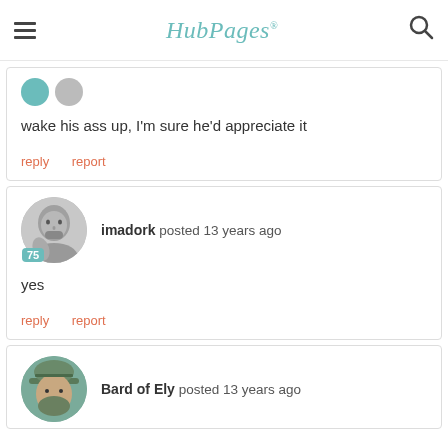HubPages
wake his ass up, I'm sure he'd appreciate it
reply  report
imadork posted 13 years ago
yes
reply  report
Bard of Ely posted 13 years ago